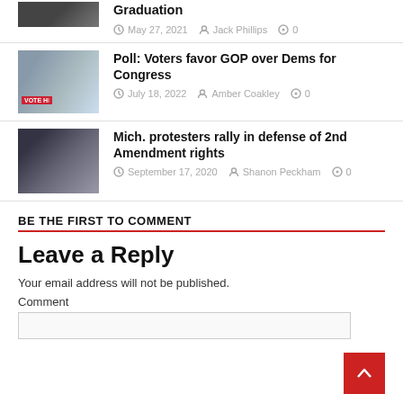Graduation — May 27, 2021 · Jack Phillips · 0 comments
Poll: Voters favor GOP over Dems for Congress — July 18, 2022 · Amber Coakley · 0
Mich. protesters rally in defense of 2nd Amendment rights — September 17, 2020 · Shanon Peckham · 0
BE THE FIRST TO COMMENT
Leave a Reply
Your email address will not be published.
Comment